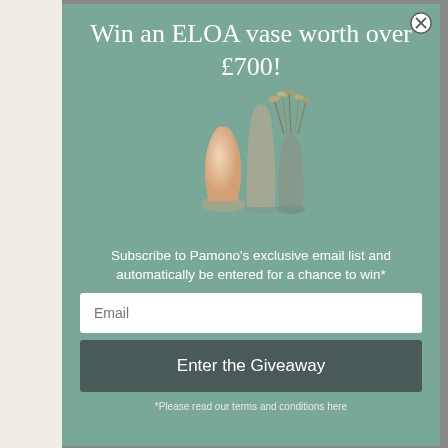Win an ELOA vase worth over £700!
[Figure (photo): Three decorative ELOA vases of different shapes and colors — one peach/cream teardrop shape, one transparent smoky taupe tall vase, and one with dried grass/flowers on top — displayed on a teal/sage green background.]
Subscribe to Pamono's exclusive email list and automatically be entered for a chance to win*
Email
Enter the Giveaway
*Please read our terms and conditions here